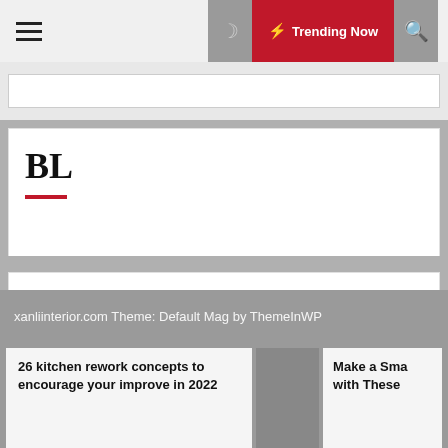Trending Now
BL
MG
swim spa enclosures
xanliinterior.com Theme: Default Mag by ThemeInWP
26 kitchen rework concepts to encourage your improve in 2022
Make a Sma with These